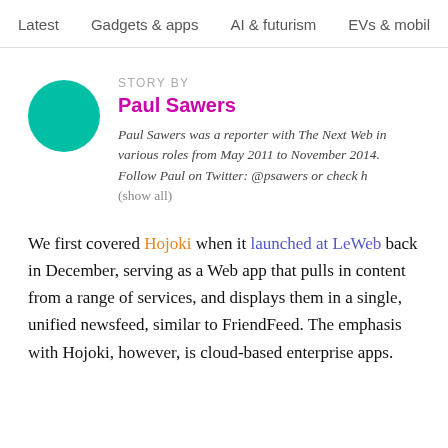Latest   Gadgets & apps   AI & futurism   EVs & mobil  >
STORY BY
Paul Sawers
Paul Sawers was a reporter with The Next Web in various roles from May 2011 to November 2014. Follow Paul on Twitter: @psawers or check h
(show all)
We first covered Hojoki when it launched at LeWeb back in December, serving as a Web app that pulls in content from a range of services, and displays them in a single, unified newsfeed, similar to FriendFeed. The emphasis with Hojoki, however, is cloud-based enterprise apps.